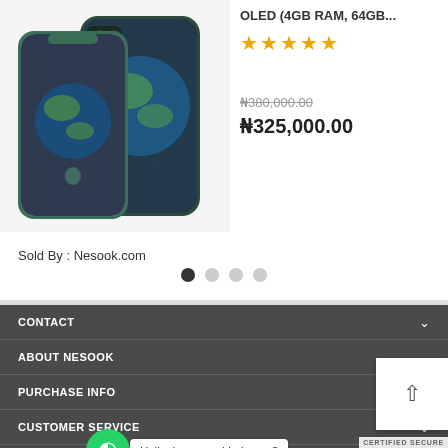[Figure (photo): Two green Apple iPhone 11 Pro Max smartphones shown front and back]
OLED (4GB RAM, 64GB...
★★★★★
₦380,000.00 (strikethrough)
₦325,000.00
Sold By : Nesook.com
CONTACT
ABOUT NESOOK
PURCHASE INFO
CUSTOMER SERVICE
MAKE MONEY WITH NESOOK
Hello, how may I help you?
CERTIFIED SECURE